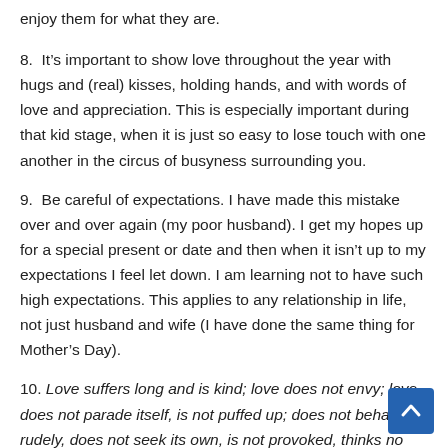enjoy them for what they are.
8.  It’s important to show love throughout the year with hugs and (real) kisses, holding hands, and with words of love and appreciation. This is especially important during that kid stage, when it is just so easy to lose touch with one another in the circus of busyness surrounding you.
9.  Be careful of expectations. I have made this mistake over and over again (my poor husband). I get my hopes up for a special present or date and then when it isn’t up to my expectations I feel let down. I am learning not to have such high expectations. This applies to any relationship in life, not just husband and wife (I have done the same thing for Mother’s Day).
10. Love suffers long and is kind; love does not envy; love does not parade itself, is not puffed up; does not behave rudely, does not seek its own, is not provoked, thinks no evil; does not rejoice in iniquity, but rejoices in the truth; bears all things, believes all...